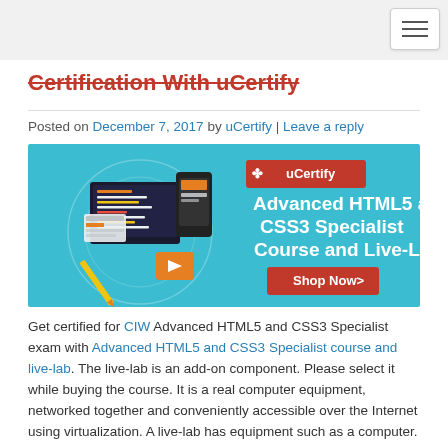Certification With uCertify
Posted on December 7, 2017 by uCertify | Leave a reply
[Figure (illustration): uCertify promotional banner for Advanced HTML5 and CSS3 Specialist Course and Live-Lab with 'Shop Now>' button and tech device illustrations on a teal background]
Get certified for CIW Advanced HTML5 and CSS3 Specialist exam with Advanced HTML5 and CSS3 Specialist course and live-lab. The live-lab is an add-on component. Please select it while buying the course. It is a real computer equipment, networked together and conveniently accessible over the Internet using virtualization. A live-lab has equipment such as a computer.